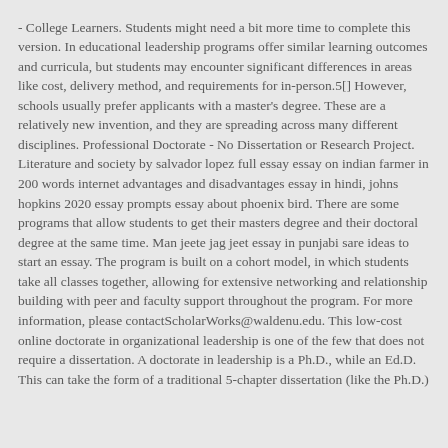- College Learners. Students might need a bit more time to complete this version. In educational leadership programs offer similar learning outcomes and curricula, but students may encounter significant differences in areas like cost, delivery method, and requirements for in-person.5[] However, schools usually prefer applicants with a master's degree. These are a relatively new invention, and they are spreading across many different disciplines. Professional Doctorate - No Dissertation or Research Project. Literature and society by salvador lopez full essay essay on indian farmer in 200 words internet advantages and disadvantages essay in hindi, johns hopkins 2020 essay prompts essay about phoenix bird. There are some programs that allow students to get their masters degree and their doctoral degree at the same time. Man jeete jag jeet essay in punjabi sare ideas to start an essay. The program is built on a cohort model, in which students take all classes together, allowing for extensive networking and relationship building with peer and faculty support throughout the program. For more information, please contactScholarWorks@waldenu.edu. This low-cost online doctorate in organizational leadership is one of the few that does not require a dissertation. A doctorate in leadership is a Ph.D., while an Ed.D. This can take the form of a traditional 5-chapter dissertation (like the Ph.D.)